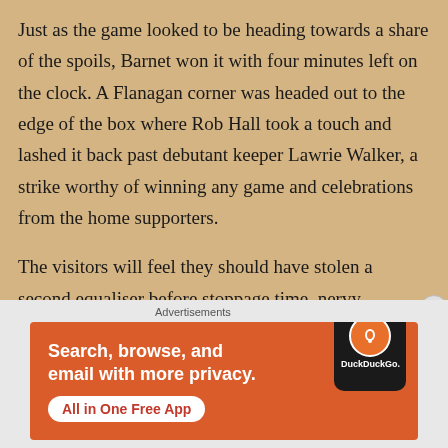Just as the game looked to be heading towards a share of the spoils, Barnet won it with four minutes left on the clock. A Flanagan corner was headed out to the edge of the box where Rob Hall took a touch and lashed it back past debutant keeper Lawrie Walker, a strike worthy of winning any game and celebrations from the home supporters.
The visitors will feel they should have stolen a second equaliser before stoppage time, nervy moments in the Barnet penalty area saw Mikael Ndojli head agonisingly
Advertisements
[Figure (infographic): DuckDuckGo advertisement banner with orange background, showing phone graphic and text: Search, browse, and email with more privacy. All in One Free App. DuckDuckGo.]